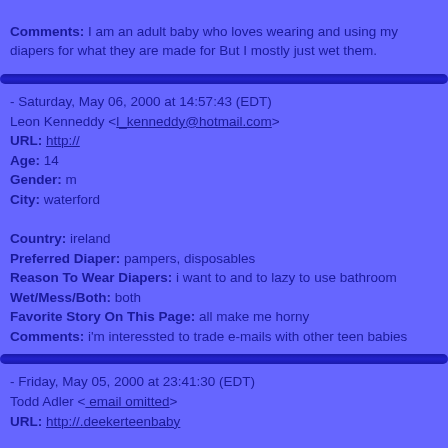Comments: I am an adult baby who loves wearing and using my diapers for what they are made for But I mostly just wet them.
- Saturday, May 06, 2000 at 14:57:43 (EDT)
Leon Kenneddy < l_kenneddy@hotmail.com>
URL: http://
Age: 14
Gender: m
City: waterford

Country: ireland
Preferred Diaper: pampers, disposables
Reason To Wear Diapers: i want to and to lazy to use bathroom
Wet/Mess/Both: both
Favorite Story On This Page: all make me horny
Comments: i'm interessted to trade e-mails with other teen babies
- Friday, May 05, 2000 at 23:41:30 (EDT)
Todd Adler < email omitted>
URL: http://.deekerteenbaby